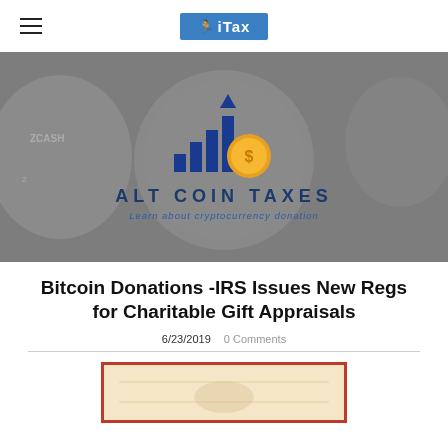≡  iTax
[Figure (illustration): Hero banner with cryptocurrency coins in background (zcash and bitcoin coins), featuring the Alt Coin Taxes logo with blue bar chart and gold dollar coin icon, text 'ALT COIN TAXES' and subtitle 'Learn about cryptocurrency donation']
Bitcoin Donations -IRS Issues New Regs for Charitable Gift Appraisals
6/23/2019  0 Comments
[Figure (illustration): Partial view of a framed document or certificate image at the bottom of the page]